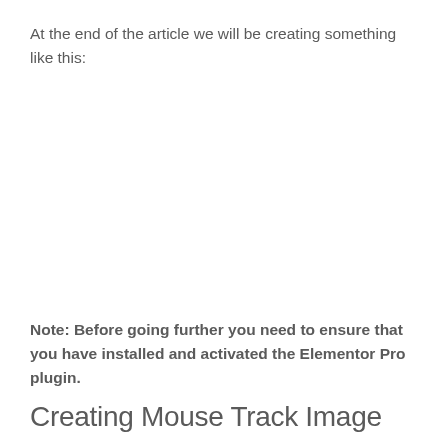At the end of the article we will be creating something like this:
[Figure (other): Blank white image placeholder showing the end result of the mouse track image tutorial]
Note: Before going further you need to ensure that you have installed and activated the Elementor Pro plugin.
Creating Mouse Track Image